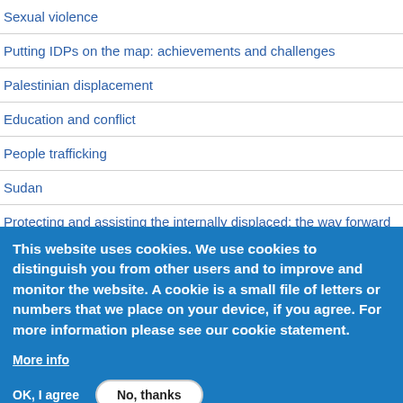Sexual violence
Putting IDPs on the map: achievements and challenges
Palestinian displacement
Education and conflict
People trafficking
Sudan
Protecting and assisting the internally displaced: the way forward
Tsunami
This website uses cookies. We use cookies to distinguish you from other users and to improve and monitor the website. A cookie is a small file of letters or numbers that we place on your device, if you agree. For more information please see our cookie statement.
More info
OK, I agree
No, thanks